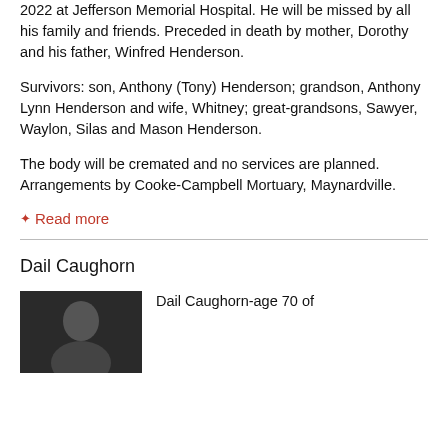2022 at Jefferson Memorial Hospital. He will be missed by all his family and friends. Preceded in death by mother, Dorothy and his father, Winfred Henderson.
Survivors: son, Anthony (Tony) Henderson; grandson, Anthony Lynn Henderson and wife, Whitney; great-grandsons, Sawyer, Waylon, Silas and Mason Henderson.
The body will be cremated and no services are planned. Arrangements by Cooke-Campbell Mortuary, Maynardville.
Read more
Dail Caughorn
[Figure (photo): Portrait photo of Dail Caughorn, dark background]
Dail Caughorn-age 70 of